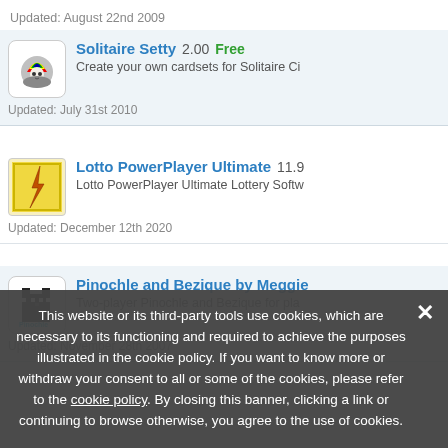Updated: August 22nd 2009
Solitaire Setty  2.00  Free
Create your own cardsets for Solitaire Ci...
Updated: July 31st 2010
Lotto PowerPlayer Ultimate  11.9
Lotto PowerPlayer Ultimate Lottery Softw...
Updated: December 12th 2020
Pinochle and Bezique by Meggie...
Two-player Pinochle and Bezique for pla...
Updated: November 28th 2007
This website or its third-party tools use cookies, which are necessary to its functioning and required to achieve the purposes illustrated in the cookie policy. If you want to know more or withdraw your consent to all or some of the cookies, please refer to the cookie policy. By closing this banner, clicking a link or continuing to browse otherwise, you agree to the use of cookies.